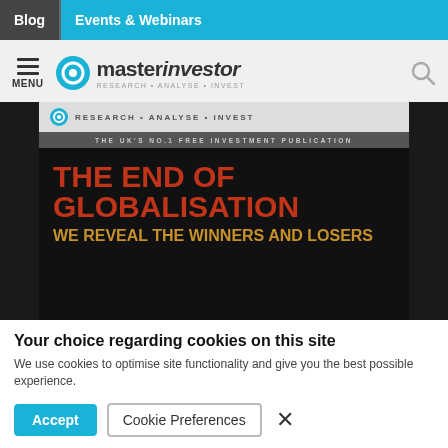Blog | Events & Webinars
[Figure (logo): Master Investor logo with tagline: RESEARCH • ANALYSE • INVEST]
[Figure (photo): Master Investor magazine cover. Headlines: THE END OF GLOBALISATION / WE REVEAL THE WINNERS AND LOSERS. Background is black with a partial image of a person's hair.]
Your choice regarding cookies on this site
We use cookies to optimise site functionality and give you the best possible experience.
Accept | Cookie Preferences | ×